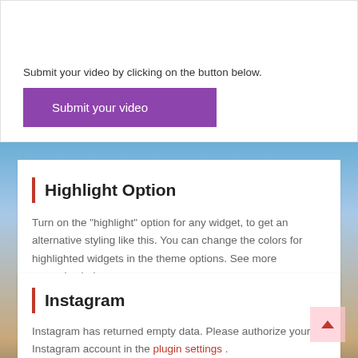Submit your video by clicking on the button below.
[Figure (screenshot): Purple 'Submit your video' button]
[Figure (photo): Background photo of a city skyline under a blue and warm sky]
Highlight Option
Turn on the "highlight" option for any widget, to get an alternative styling like this. You can change the colors for highlighted widgets in the theme options. See more examples below.
Instagram
Instagram has returned empty data. Please authorize your Instagram account in the plugin settings .